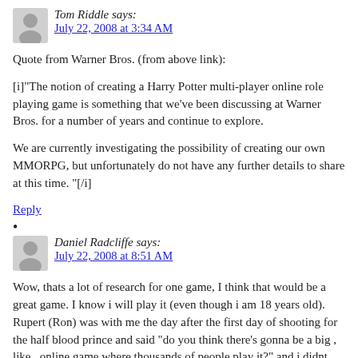Tom Riddle says:
July 22, 2008 at 3:34 AM
Quote from Warner Bros. (from above link):
[i]"The notion of creating a Harry Potter multi-player online role playing game is something that we've been discussing at Warner Bros. for a number of years and continue to explore.

We are currently investigating the possibility of creating our own MMORPG, but unfortunately do not have any further details to share at this time. "[/i]
Reply
Daniel Radcliffe says:
July 22, 2008 at 8:51 AM
Wow, thats a lot of research for one game, I think that would be a great game. I know i will play it (even though i am 18 years old). Rupert (Ron) was with me the day after the first day of shooting for the half blood prince and said "do you think there's gonna be a big , like , online game where thousands of people play it?" and i didnt even know so i went on the internet and i found this website